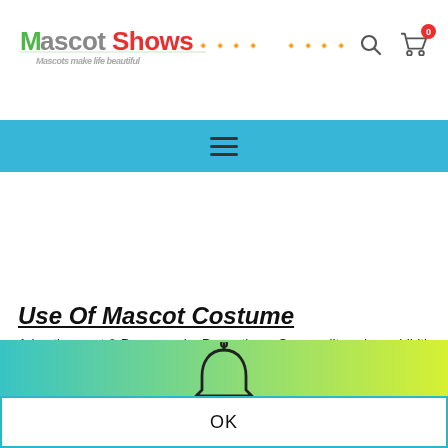[Figure (logo): MascotShows logo with colorful text and tagline 'Mascots make life beautiful']
Navigation links and icons (search, cart with badge 0)
[Figure (other): Blue horizontal navigation bar with hamburger menu icon]
Use Of Mascot Costume
Advertisement & Propaganda, Promotions, Commodity sales exhibition
[Figure (other): Cookie consent overlay with bell icon, gradient background, Japanese cookie notice text, and OK button]